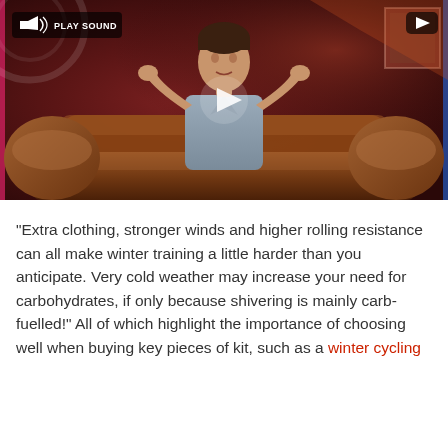[Figure (screenshot): Video player thumbnail showing a man sitting on a brown leather couch in a studio with cycling-related background. A play button is visible in the center. A 'PLAY SOUND' button with speaker icon is in the top-left, and a YouTube icon is in the top-right.]
“Extra clothing, stronger winds and higher rolling resistance can all make winter training a little harder than you anticipate. Very cold weather may increase your need for carbohydrates, if only because shivering is mainly carb-fuelled!” All of which highlight the importance of choosing well when buying key pieces of kit, such as a winter cycling